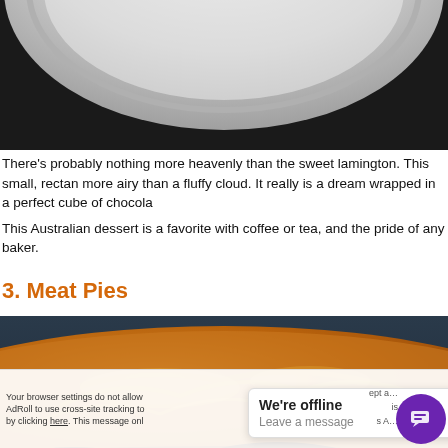[Figure (photo): Close-up photo of a white plate with dark background, partial view of plate edge]
There's probably nothing more heavenly than the sweet lamington. This small, recta... more airy than a fluffy cloud. It really is a dream wrapped in a perfect cube of chocola...
This Australian dessert is a favorite with coffee or tea, and the pride of any baker.
3. Meat Pies
[Figure (photo): Close-up photo of a golden-brown, flaky meat pie with filling visible]
Your browser settings do not allow... AdRoll to use cross-site tracking to... by clicking here. This message onl...
We're offline
Leave a message